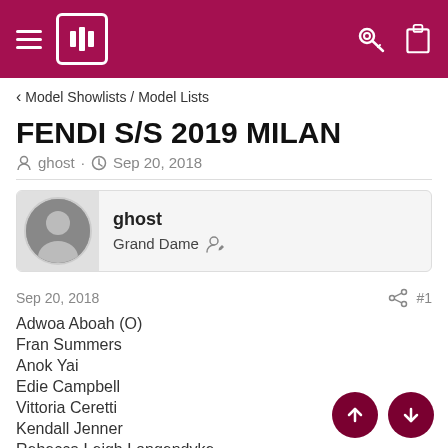FENDI S/S 2019 MILAN - Model Showlists / Model Lists
Model Showlists / Model Lists
FENDI S/S 2019 MILAN
ghost · Sep 20, 2018
ghost
Grand Dame
Sep 20, 2018   #1
Adwoa Aboah (O)
Fran Summers
Anok Yai
Edie Campbell
Vittoria Ceretti
Kendall Jenner
Rebecca Leigh Longendyke
Binx Walton